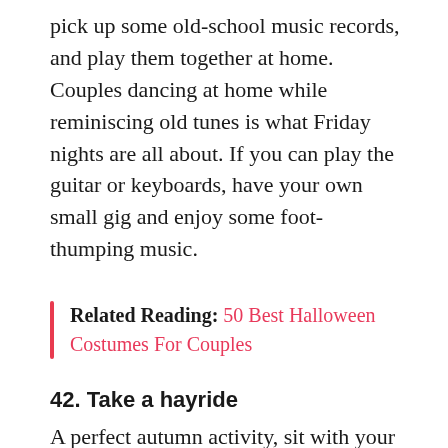pick up some old-school music records, and play them together at home. Couples dancing at home while reminiscing old tunes is what Friday nights are all about. If you can play the guitar or keyboards, have your own small gig and enjoy some foot-thumping music.
Related Reading: 50 Best Halloween Costumes For Couples
42. Take a hayride
A perfect autumn activity, sit with your partner and co-dates to enjoy the weather and beauty of